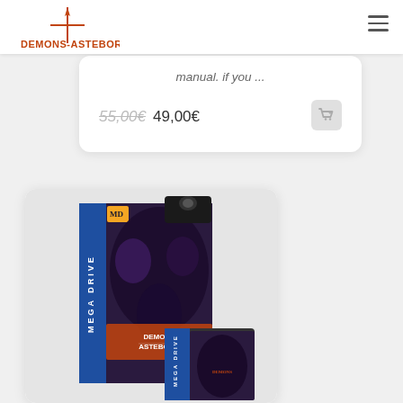Demons-Asteborg website header with logo and hamburger menu
manual. if you ...
55,00€ 49,00€
[Figure (screenshot): Demons-Asteborg Mega Drive game cartridge and box product image showing game cover art with dark fantasy characters]
[Figure (logo): Demons-Asteborg logo with crosshair/sword graphic and orange stylized text]